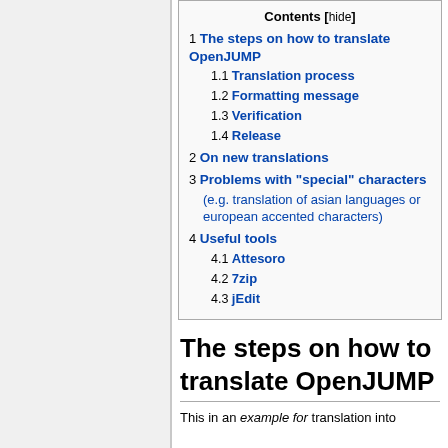Contents [hide]
1 The steps on how to translate OpenJUMP
1.1 Translation process
1.2 Formatting message
1.3 Verification
1.4 Release
2 On new translations
3 Problems with "special" characters (e.g. translation of asian languages or european accented characters)
4 Useful tools
4.1 Attesoro
4.2 7zip
4.3 jEdit
The steps on how to translate OpenJUMP
This in an example for translation into